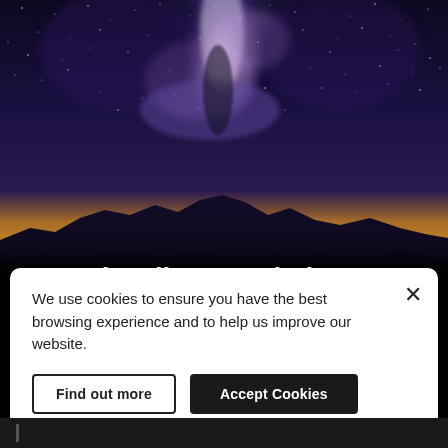[Figure (photo): Night sky photo showing the Milky Way galaxy rising above a dark mountain silhouette, with a golden-yellow horizon glow and cracked salt flat foreground.]
2022 shortlist revealed
We use cookies to ensure you have the best browsing experience and to help us improve our website.
Find out more
Accept Cookies